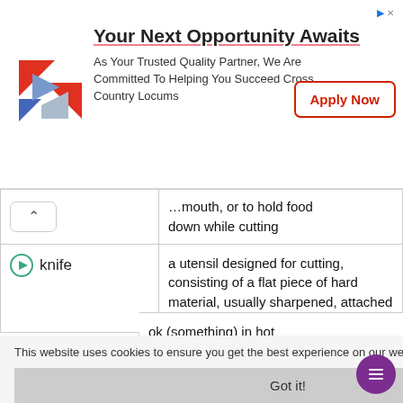[Figure (other): Advertisement banner: Cross Country Locums logo, 'Your Next Opportunity Awaits' heading, tagline text, and 'Apply Now' button]
| word | definition |
| --- | --- |
| knife | a utensil designed for cutting, consisting of a flat piece of hard material, usually sharpened, attached to a handle |
| saucepan | a deep cooking vessel with a handle and sometimes a lid, used for boiling, stewing and making sauces |
| pan | a flat device for cooking or with one long handle, y made of metal |
|  | ok (something) in hot |
This website uses cookies to ensure you get the best experience on our website. Learn more
Got it!